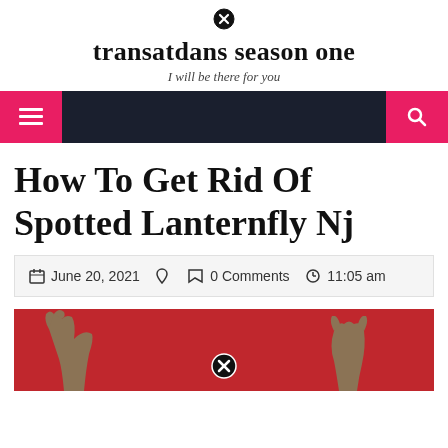transatdans season one
I will be there for you
[Figure (screenshot): Website navigation bar with dark background, pink hamburger menu button on left and pink search button on right]
How To Get Rid Of Spotted Lanternfly Nj
June 20, 2021   0 Comments   11:05 am
[Figure (photo): Red background with cat silhouette and close/cancel icon overlay at bottom center]